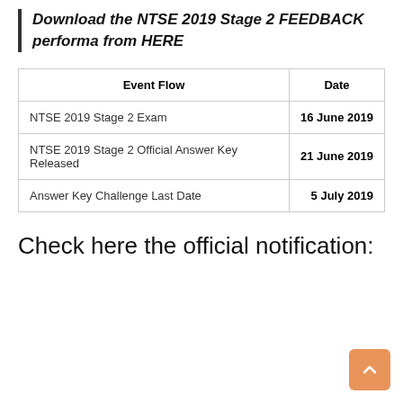Download the NTSE 2019 Stage 2 FEEDBACK performa from HERE
| Event Flow | Date |
| --- | --- |
| NTSE 2019 Stage 2 Exam | 16 June 2019 |
| NTSE 2019 Stage 2 Official Answer Key Released | 21 June 2019 |
| Answer Key Challenge Last Date | 5 July 2019 |
Check here the official notification: